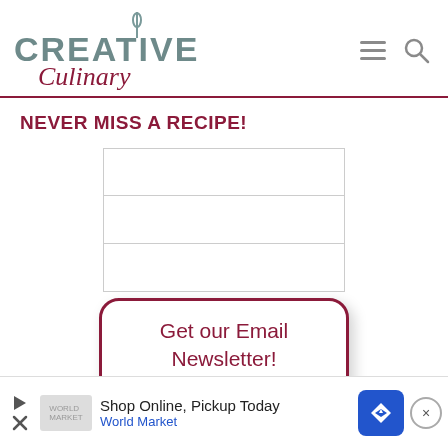[Figure (logo): Creative Culinary logo with fork icon above, CREATIVE in teal uppercase, Culinary in dark red italic script]
[Figure (other): Hamburger menu icon and search magnifying glass icon in gray]
NEVER MISS A RECIPE!
[Figure (other): Three empty input form fields stacked vertically]
[Figure (other): Button with rounded border reading Get our Email Newsletter!]
Join our Mailing List*
[Figure (other): Advertisement banner: Shop Online, Pickup Today - World Market with blue diamond navigation icon]